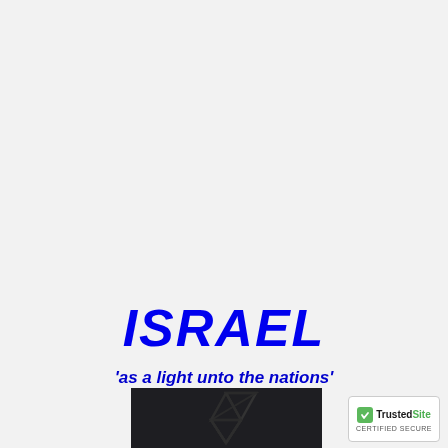ISRAEL
'as a light unto the nations'
[Figure (photo): Dark background image showing a Star of David shape in dark tones, partially visible at bottom of page]
[Figure (logo): TrustedSite CERTIFIED SECURE badge in bottom right corner]